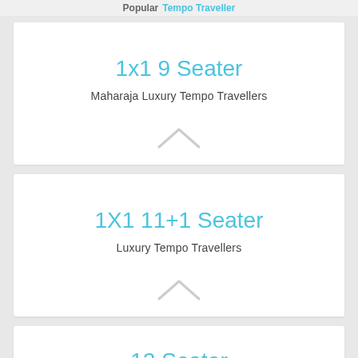Popular Tempo Traveller
1x1 9 Seater
Maharaja Luxury Tempo Travellers
1X1 11+1 Seater
Luxury Tempo Travellers
12 Seater